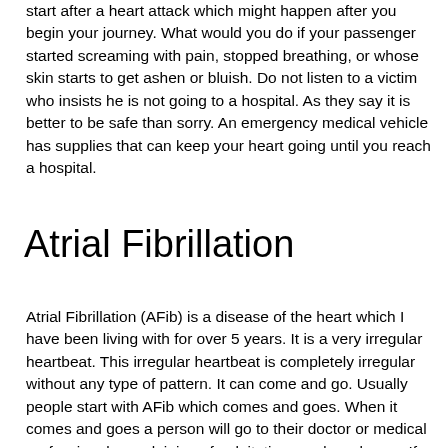start after a heart attack which might happen after you begin your journey. What would you do if your passenger started screaming with pain, stopped breathing, or whose skin starts to get ashen or bluish. Do not listen to a victim who insists he is not going to a hospital. As they say it is better to be safe than sorry. An emergency medical vehicle has supplies that can keep your heart going until you reach a hospital.
Atrial Fibrillation
Atrial Fibrillation (AFib) is a disease of the heart which I have been living with for over 5 years. It is a very irregular heartbeat. This irregular heartbeat is completely irregular without any type of pattern. It can come and go. Usually people start with AFib which comes and goes. When it comes and goes a person will go to their doctor or medical professional complaining of palpitations and weakness. If a regular EKG is done in the office or clinic, it will only show